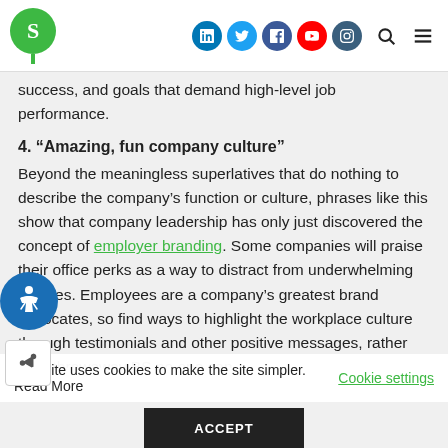S [logo] LinkedIn Twitter Facebook YouTube Instagram Search Menu
success, and goals that demand high-level job performance.
4. “Amazing, fun company culture”
Beyond the meaningless superlatives that do nothing to describe the company’s function or culture, phrases like this show that company leadership has only just discovered the concept of employer branding. Some companies will praise their office perks as a way to distract from underwhelming salaries. Employees are a company’s greatest brand advocates, so find ways to highlight the workplace culture through testimonials and other positive messages, rather than throwaway BS no one can
This site uses cookies to make the site simpler. Read More Cookie settings
ACCEPT